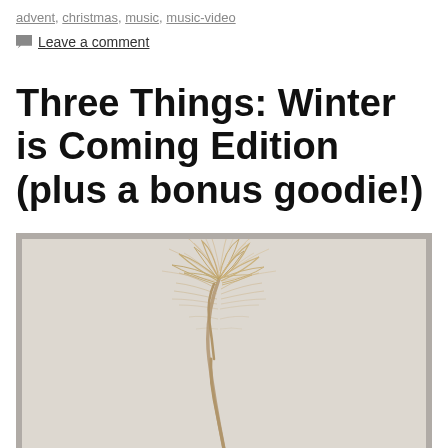advent, christmas, music, music-video
Leave a comment
Three Things: Winter is Coming Edition (plus a bonus goodie!)
[Figure (photo): A framed photograph of dried pampas grass against a light beige/grey background, displayed in a grey border frame.]